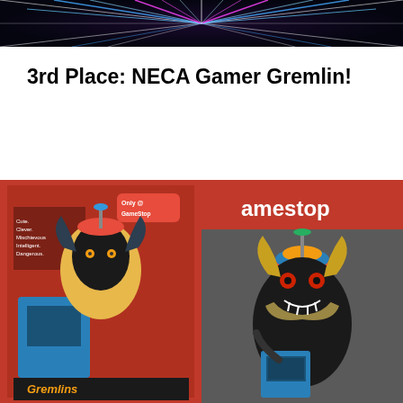[Figure (photo): Dark background with colorful laser/neon light streaks in blue, pink, and white radiating from center — retro arcade/gaming style banner header image]
3rd Place: NECA Gamer Gremlin!
[Figure (photo): Two-panel photo: left side shows the NECA Gamer Gremlin action figure box/packaging with a Gremlin sitting at an arcade game console, labeled 'Only @ GameStop'; right side shows the actual figure — a Gremlin creature wearing a colorful propeller beanie hat, with detailed scales and claws, posed next to a blue mini arcade cabinet, photographed at a GameStop store]